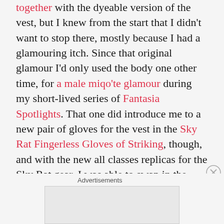together with the dyeable version of the vest, but I knew from the start that I didn't want to stop there, mostly because I had a glamouring itch. Since that original glamour I'd only used the body one other time, for a male miqo'te glamour during my short-lived series of Fantasia Spotlights. That one did introduce me to a new pair of gloves for the vest in the Sky Rat Fingerless Gloves of Striking, though, and with the new all classes replicas for the Sky Rat gear, I was able to swap in the Casting version (in Charcoal Grey to match the boots) instead for...
Advertisements